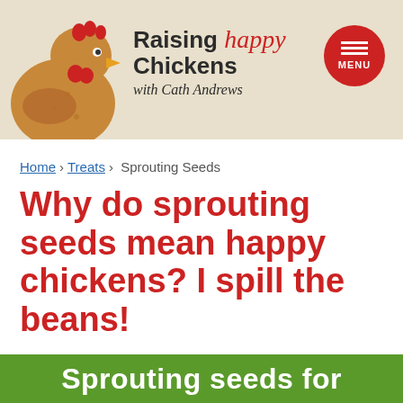Raising happy Chickens with Cath Andrews
Home › Treats › Sprouting Seeds
Why do sprouting seeds mean happy chickens? I spill the beans!
Sprouting seeds for